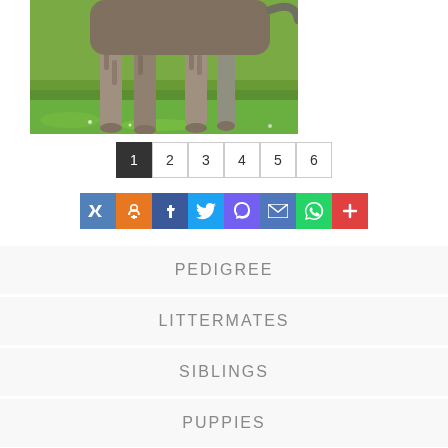[Figure (photo): Photo of a dog (brindle/grey coat) standing on green grass, showing legs and lower body]
1 2 3 4 5 6 (pagination buttons)
[Figure (infographic): Social sharing buttons: VK, OK, Facebook, Twitter, Viber, Mail, WhatsApp, More]
PEDIGREE
LITTERMATES
SIBLINGS
PUPPIES
PROGENY